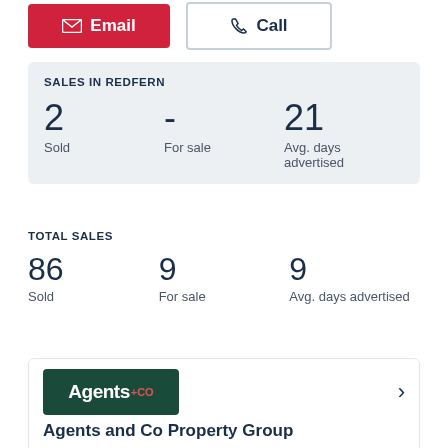[Figure (screenshot): Email and Call contact buttons at the top of the page]
SALES IN REDFERN
2 Sold  -  For sale  21 Avg. days advertised
TOTAL SALES
86 Sold  9 For sale  9 Avg. days advertised
[Figure (logo): Agents+Co logo with dark green background]
Agents and Co Property Group